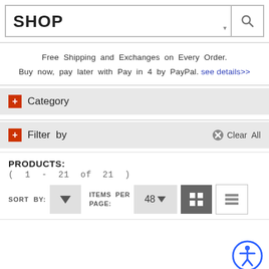SHOP
Free Shipping and Exchanges on Every Order. Buy now, pay later with Pay in 4 by PayPal. see details>>
+ Category
+ Filter by   Clear All
PRODUCTS: ( 1 - 21 of 21 )
SORT BY:  ITEMS PER PAGE: 48